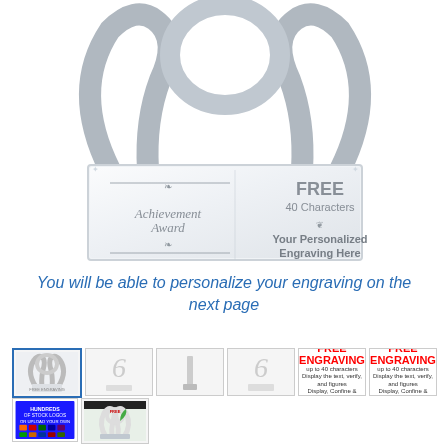[Figure (photo): Crystal achievement award trophy with oval loop handle, rectangular base, showing engraving sample: 'Achievement Award' with decorative flourishes, and 'FREE 40 Characters / Your Personalized Engraving Here']
You will be able to personalize your engraving on the next page
[Figure (photo): Row of product thumbnail images: selected crystal award (blue border), crystal award no border, side view thin crystal, front view crystal, FREE ENGRAVING badge x2, HUNDREDS OF STOCK LOGOS badge, award with plants thumbnail]